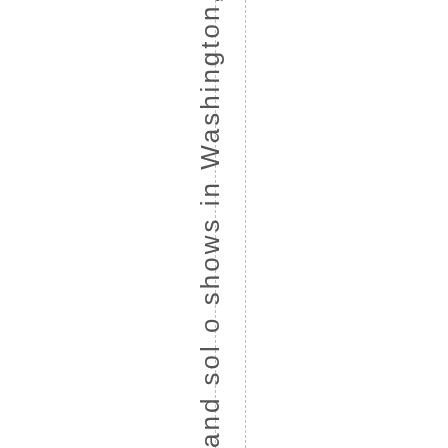and sol o shows in Washington, Oregon